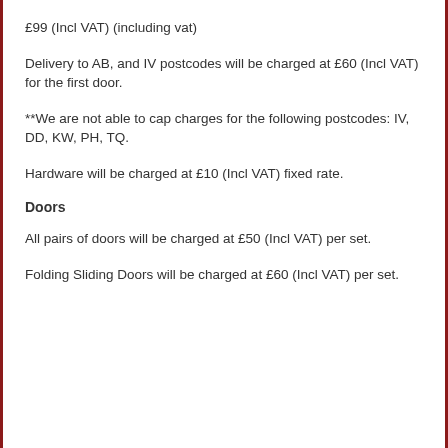£99 (Incl VAT) (including vat)
Delivery to AB, and IV postcodes will be charged at £60 (Incl VAT) for the first door.
**We are not able to cap charges for the following postcodes: IV, DD, KW, PH, TQ.
Hardware will be charged at £10 (Incl VAT) fixed rate.
Doors
All pairs of doors will be charged at £50 (Incl VAT) per set.
Folding Sliding Doors will be charged at £60 (Incl VAT) per set.